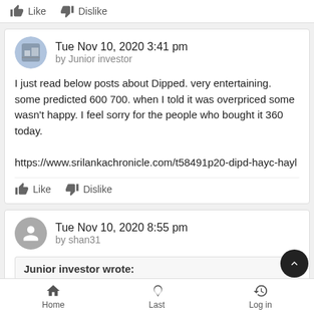Like  Dislike
Tue Nov 10, 2020 3:41 pm
by Junior investor
I just read below posts about Dipped. very entertaining. some predicted 600 700. when I told it was overpriced some wasn't happy. I feel sorry for the people who bought it 360 today.

https://www.srilankachronicle.com/t58491p20-dipd-hayc-hayl
Like  Dislike
Tue Nov 10, 2020 8:55 pm
by shan31
Junior investor wrote: